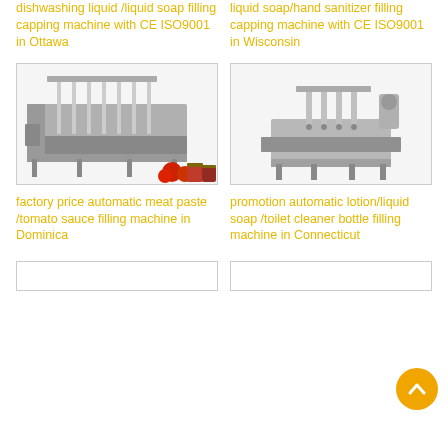dishwashing liquid/liquid soap filling capping machine with CE ISO9001 in Ottawa
liquid soap/hand sanitizer filling capping machine with CE ISO9001 in Wisconsin
[Figure (photo): Industrial filling machine with multiple nozzles for meat paste/tomato sauce, with red tomatoes and jars in foreground]
[Figure (photo): Compact industrial lotion/liquid soap filling machine with nozzles on a stainless steel frame]
factory price automatic meat paste /tomato sauce filling machine in Dominica
promotion automatic lotion/liquid soap /toilet cleaner bottle filling machine in Connecticut